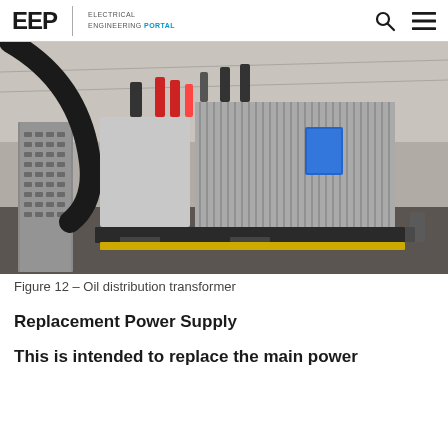EEP | ELECTRICAL ENGINEERING PORTAL
[Figure (photo): Oil distribution transformer on a wheeled dolly/cart inside an industrial building, with cooling fins visible on the side and electrical cables connected at the top. Metal cable tray visible on the left side.]
Figure 12 – Oil distribution transformer
Replacement Power Supply
This is intended to replace the main power